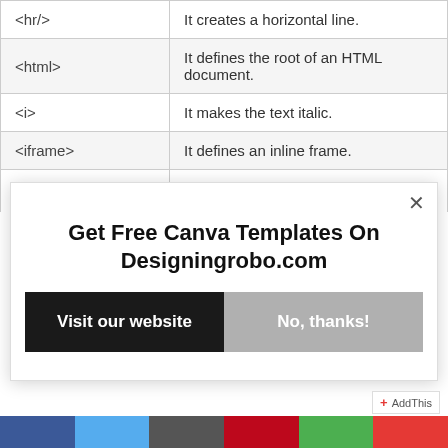| Tag | Description |
| --- | --- |
| <hr/> | It creates a horizontal line. |
| <html> | It defines the root of an HTML document. |
| <i> | It makes the text italic. |
| <iframe> | It defines an inline frame. |
| <img> | It is the for displaying which is used to... |
[Figure (screenshot): Modal popup promoting free Canva templates on Designingrobo.com with 'Visit our website' and 'No, thanks!' buttons, and a close (×) button.]